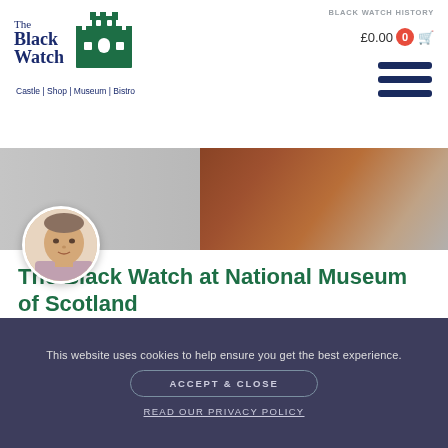The Black Watch | Castle | Shop | Museum | Bistro — £0.00 cart, BLACK WATCH HISTORY link
[Figure (photo): Hero banner with reddish-brown background and portrait photo of a man]
[Figure (photo): Circular profile photo of a man in a light shirt]
The Black Watch at National Museum of Scotland
Rosie Waine is the William Grant Foundation Research Fellow at the National Museum of
This website uses cookies to help ensure you get the best experience.
ACCEPT & CLOSE
READ OUR PRIVACY POLICY